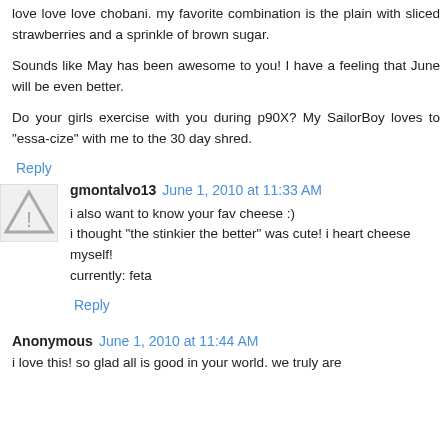love love love chobani. my favorite combination is the plain with sliced strawberries and a sprinkle of brown sugar.
Sounds like May has been awesome to you! I have a feeling that June will be even better.
Do your girls exercise with you during p90X? My SailorBoy loves to "essa-cize" with me to the 30 day shred.
Reply
gmontalvo13  June 1, 2010 at 11:33 AM
i also want to know your fav cheese :)
i thought "the stinkier the better" was cute! i heart cheese myself!
currently: feta
Reply
Anonymous  June 1, 2010 at 11:44 AM
i love this! so glad all is good in your world. we truly are